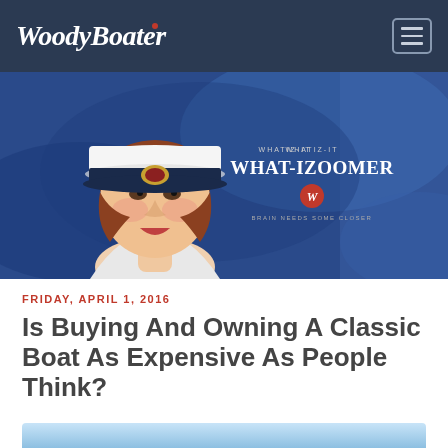WoodyBoater
[Figure (illustration): Vintage illustration of a young woman in a white naval captain's hat with gold emblem and dark brim, dressed in white, set against a blue painted background. Text overlay reads: WHATIZ-IT / WHAT-IZOOMER / W (red circle badge) / BRAIN NEEDS SOME CLOSER]
FRIDAY, APRIL 1, 2016
Is Buying And Owning A Classic Boat As Expensive As People Think?
[Figure (other): Light blue gradient rectangle, partial view of an advertisement or image at the bottom of the page]